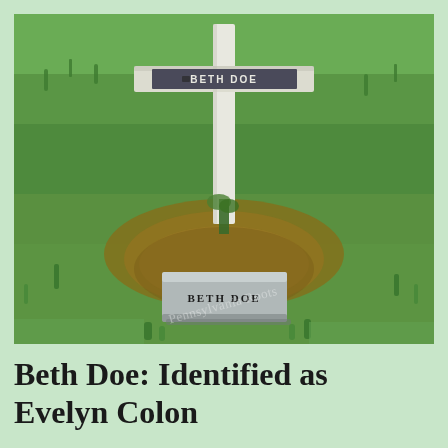[Figure (photo): A grave site with a white wooden cross marked 'BETH DOE' on the crosspiece, and a small granite grave marker stone on the ground also reading 'BETH DOE', surrounded by grass and dirt. A watermark reads 'Pennsylvania Roots'.]
Beth Doe: Identified as Evelyn Colon